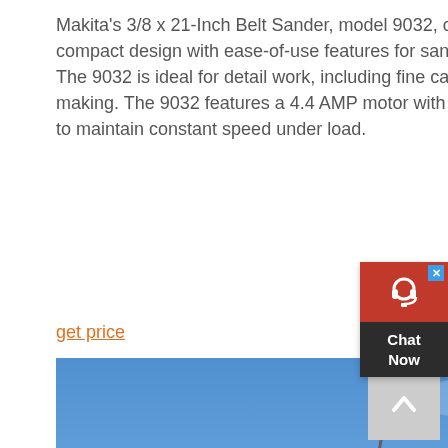Makita's 3/8 x 21-Inch Belt Sander, model 9032, combines speed and a compact design with ease-of-use features for sanding in confined areas. The 9032 is ideal for detail work, including fine carpentry and furniture making. The 9032 features a 4.4 AMP motor with electronic speed control to maintain constant speed under load.
get price
[Figure (photo): Outdoor photo of heavy industrial machinery/equipment (possibly a crusher or conveyor system) on a construction site, with a bright blue sky in the background. A crane hook is visible at the top. The machine is silver/white with a red component, elevated on steel framework scaffolding.]
MAKITA CANADA INC
Makita Canada: The best in class for cordless power tool technology. A leader in power tool technology for the